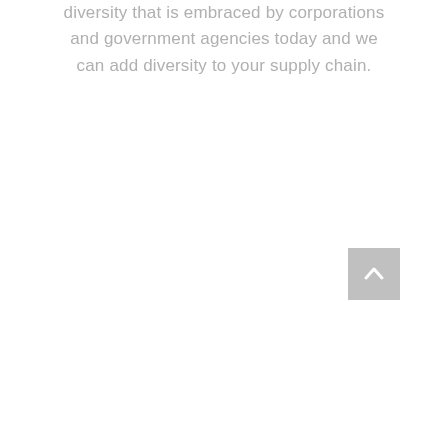diversity that is embraced by corporations and government agencies today and we can add diversity to your supply chain.
[Figure (other): A grey square button with a white upward-pointing chevron/arrow icon, used as a scroll-to-top navigation element.]